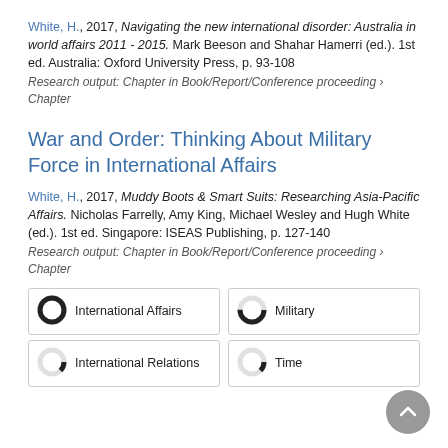White, H., 2017, Navigating the new international disorder: Australia in world affairs 2011 - 2015. Mark Beeson and Shahar Hamerri (ed.). 1st ed. Australia: Oxford University Press, p. 93-108
Research output: Chapter in Book/Report/Conference proceeding › Chapter
War and Order: Thinking About Military Force in International Affairs
White, H., 2017, Muddy Boots & Smart Suits: Researching Asia-Pacific Affairs. Nicholas Farrelly, Amy King, Michael Wesley and Hugh White (ed.). 1st ed. Singapore: ISEAS Publishing, p. 127-140
Research output: Chapter in Book/Report/Conference proceeding › Chapter
International Affairs | Military | International Relations | Time